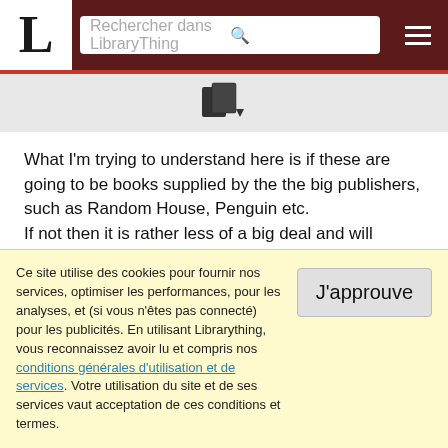L | Rechercher dans LibraryThing
[Figure (other): Small icon with books and a downward arrow]
What I'm trying to understand here is if these are going to be books supplied by the the big publishers, such as Random House, Penguin etc.
If not then it is rather less of a big deal and will disappoint a lot of people.
Will Amazon be selling these books to libraries/Overdrive? If so then they appear to have just gained a competitive advantage and
Ce site utilise des cookies pour fournir nos services, optimiser les performances, pour les analyses, et (si vous n'êtes pas connecté) pour les publicités. En utilisant Librarything, vous reconnaissez avoir lu et compris nos conditions générales d'utilisation et de services. Votre utilisation du site et de ses services vaut acceptation de ces conditions et termes.
J'approuve